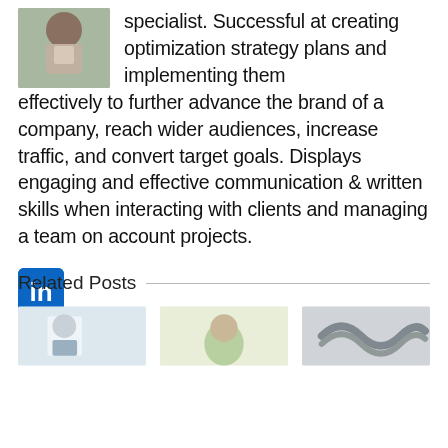[Figure (photo): Profile photo of a man outdoors]
specialist. Successful at creating optimization strategy plans and implementing them effectively to further advance the brand of a company, reach wider audiences, increase traffic, and convert target goals. Displays engaging and effective communication & written skills when interacting with clients and managing a team on account projects.
[Figure (logo): LinkedIn icon button (blue square with 'in' text)]
Related Posts
[Figure (photo): Related post thumbnail 1 - person in white]
[Figure (photo): Related post thumbnail 2 - person near plant]
[Figure (photo): Related post thumbnail 3 - rope/knot]